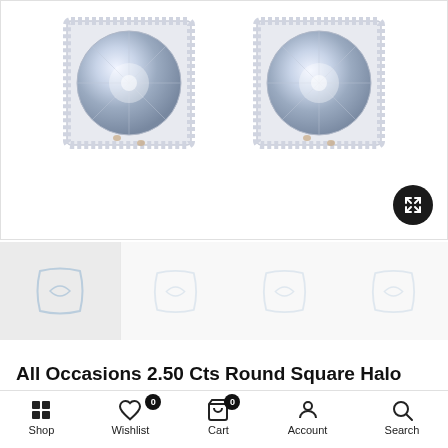[Figure (photo): Two square halo moissanite diamond stud earrings shown side by side, with round center stones surrounded by small halo diamonds in a square setting, on white background]
[Figure (screenshot): Thumbnail strip showing small product image thumbnails below the main product image, with placeholder/loading icons]
All Occasions 2.50 Cts Round Square Halo Shape Moissanite Diamond Designer Stud Earrings
Shop  Wishlist  Cart 0  Account  Search